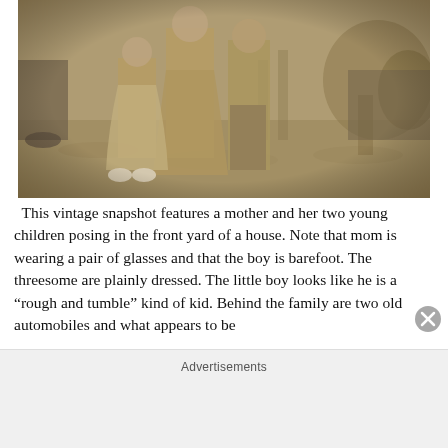[Figure (photo): Vintage sepia-toned photograph of a mother and her two young children posing in the front yard of a house. Children include a girl in a dress with white shoes and a barefoot boy. Old automobiles and trees visible in background.]
This vintage snapshot features a mother and her two young children posing in the front yard of a house. Note that mom is wearing a pair of glasses and that the boy is barefoot. The threesome are plainly dressed. The little boy looks like he is a “rough and tumble” kind of kid. Behind the family are two old automobiles and what appears to be
Advertisements